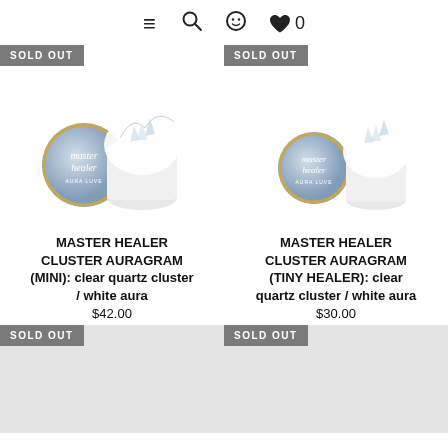≡ 🔍 ☺ ♥ 0
[Figure (photo): Product photo: master healer tin canister and crystal cluster in white tissue in white pot - MINI version]
MASTER HEALER CLUSTER AURAGRAM (MINI): clear quartz cluster / white aura
$42.00
[Figure (photo): Product photo: master healer tin canister and crystal cluster in white tissue in white pot - TINY HEALER version]
MASTER HEALER CLUSTER AURAGRAM (TINY HEALER): clear quartz cluster / white aura
$30.00
[Figure (photo): Sold out product placeholder - bottom left]
[Figure (photo): Sold out product placeholder - bottom right]